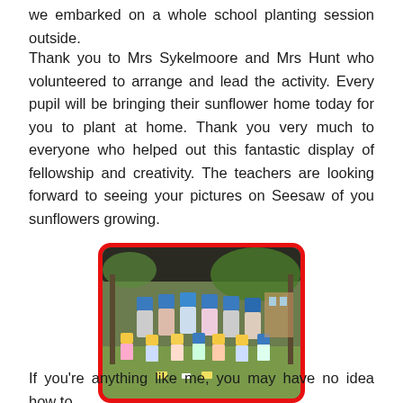we embarked on a whole school planting session outside.
Thank you to Mrs Sykelmoore and Mrs Hunt who volunteered to arrange and lead the activity. Every pupil will be bringing their sunflower home today for you to plant at home. Thank you very much to everyone who helped out this fantastic display of fellowship and creativity. The teachers are looking forward to seeing your pictures on Seesaw of you sunflowers growing.
[Figure (photo): Group photo of school children standing and sitting outdoors under a covered area, with blue and yellow coloured shapes covering faces for privacy.]
If you're anything like me, you may have no idea how to